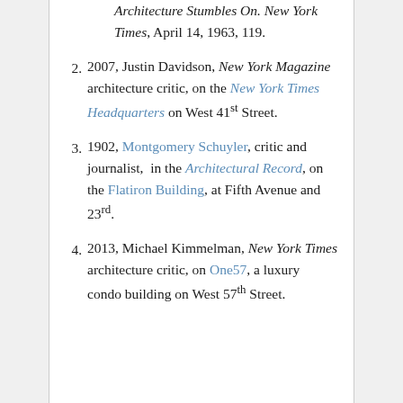Architecture Stumbles On. New York Times, April 14, 1963, 119.
2007, Justin Davidson, New York Magazine architecture critic, on the New York Times Headquarters on West 41st Street.
1902, Montgomery Schuyler, critic and journalist, in the Architectural Record, on the Flatiron Building, at Fifth Avenue and 23rd.
2013, Michael Kimmelman, New York Times architecture critic, on One57, a luxury condo building on West 57th Street.